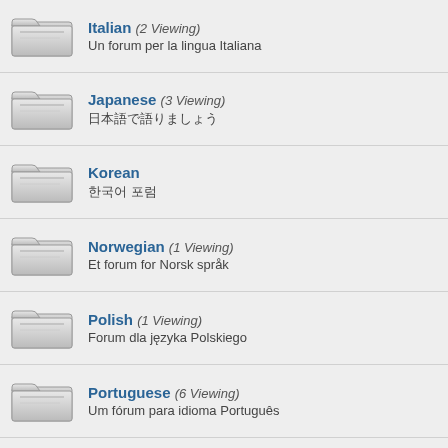Italian (2 Viewing) — Un forum per la lingua Italiana
Japanese (3 Viewing) — 日本語で語りましょう
Korean — 한국어 포럼
Norwegian (1 Viewing) — Et forum for Norsk språk
Polish (1 Viewing) — Forum dla języka Polskiego
Portuguese (6 Viewing) — Um fórum para idioma Português
Russian (4 Viewing) — Форум по русскому языку